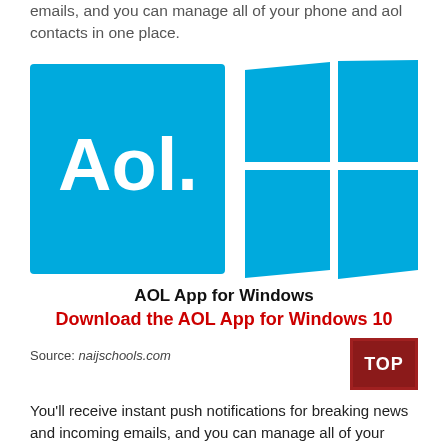emails, and you can manage all of your phone and aol contacts in one place.
[Figure (logo): AOL logo (blue square with white 'Aol.' text) next to Windows logo (four blue window panes)]
AOL App for Windows
Download the AOL App for Windows 10
Source: naijschools.com
You'll receive instant push notifications for breaking news and incoming emails, and you can manage all of your phone and aol contacts in one place. Aol email app